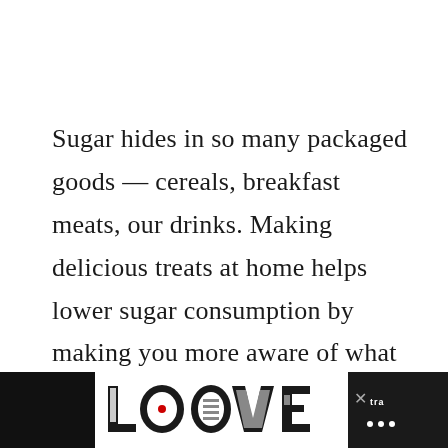Sugar hides in so many packaged goods — cereals, breakfast meats, our drinks. Making delicious treats at home helps lower sugar consumption by making you more aware of what you're actually eating.
These cookies use my favorite
[Figure (photo): Advertisement banner at the bottom of the page showing decorative 'LOVE' text logo in black and white with ornate lettering, on a white background strip surrounded by black bars. An X close button is visible and a dark brand logo on the right.]